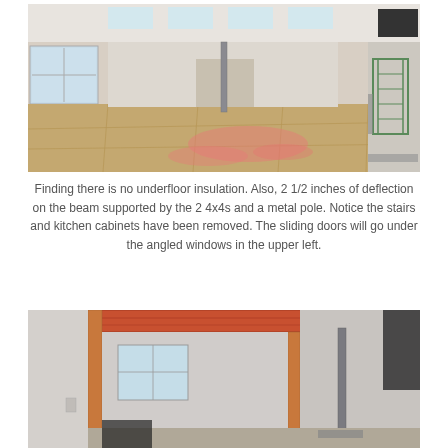[Figure (photo): Interior of a building under renovation showing an open floor plan with plywood subfloor marked with pink/red chalk lines, white walls, windows in background, a metal support pole in the center, a ladder on the right, and construction materials scattered around.]
Finding there is no underfloor insulation. Also, 2 1/2 inches of deflection on the beam supported by the 2 4x4s and a metal pole. Notice the stairs and kitchen cabinets have been removed. The sliding doors will go under the angled windows in the upper left.
[Figure (photo): Interior construction photo showing a doorway opening framed with red/orange lumber beam across the top, white drywall walls, a window visible through the opening, a metal pipe/post on the right side, and black plastic sheeting on the floor.]